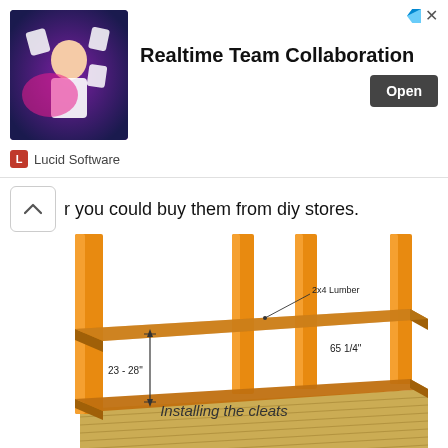[Figure (screenshot): Advertisement banner for Lucid Software featuring 'Realtime Team Collaboration' with an Open button and Lucid Software branding]
r you could buy them from diy stores.
[Figure (engineering-diagram): 3D rendering of a deck/platform structure showing wooden posts, horizontal cleats (2x4 Lumber), with dimension annotations: 23-28 inches vertical and 65 1/4 inches horizontal]
Installing the cleats